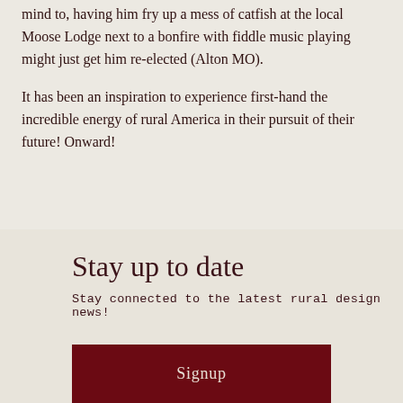mind to, having him fry up a mess of catfish at the local Moose Lodge next to a bonfire with fiddle music playing might just get him re-elected (Alton MO).
It has been an inspiration to experience first-hand the incredible energy of rural America in their pursuit of their future! Onward!
Stay up to date
Stay connected to the latest rural design news!
Signup